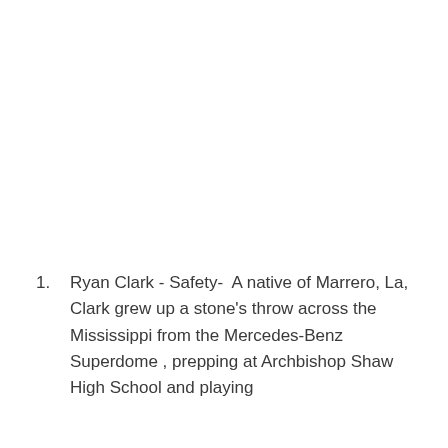Ryan Clark - Safety-  A native of Marrero, La, Clark grew up a stone's throw across the Mississippi from the Mercedes-Benz Superdome , prepping at Archbishop Shaw High School and playing